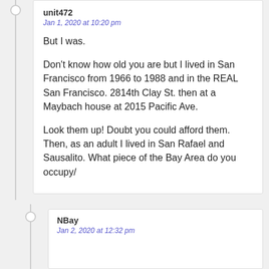unit472
Jan 1, 2020 at 10:20 pm
But I was.
Don’t know how old you are but I lived in San Francisco from 1966 to 1988 and in the REAL San Francisco. 2814th Clay St. then at a Maybach house at 2015 Pacific Ave.
Look them up! Doubt you could afford them. Then, as an adult I lived in San Rafael and Sausalito. What piece of the Bay Area do you occupy/
NBay
Jan 2, 2020 at 12:32 pm